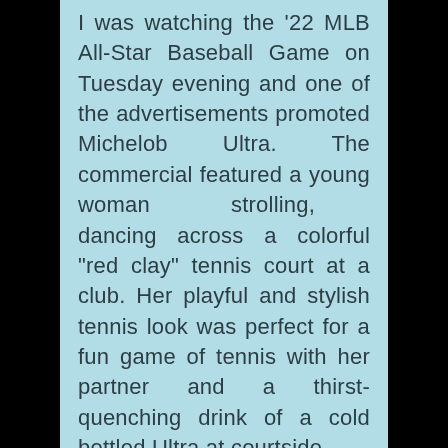I was watching the '22 MLB All-Star Baseball Game on Tuesday evening and one of the advertisements promoted Michelob Ultra. The commercial featured a young woman strolling, dancing across a colorful "red clay" tennis court at a club. Her playful and stylish tennis look was perfect for a fun game of tennis with her partner and a thirst-quenching drink of a cold bottled Ultra at courtside.

It's compelling to me, that very often corporate America promotes tennis in the background. With the relatively new game of